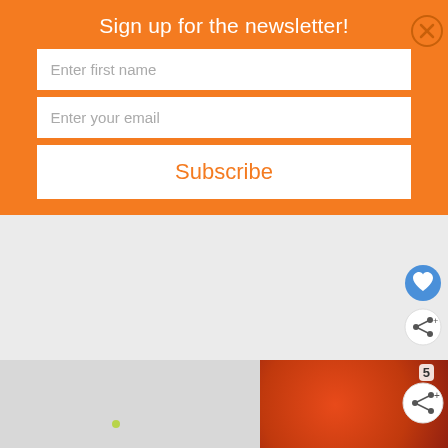Sign up for the newsletter!
Enter first name
Enter your email
Subscribe
[Figure (screenshot): White/gray content area with heart and share buttons on the right side]
[Figure (photo): Photo showing people from behind with arms around each other next to an orange blurred background]
5
We Stand Together